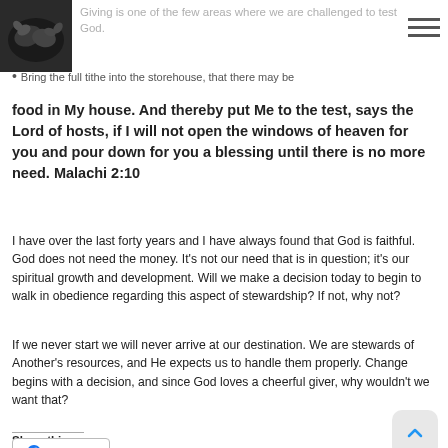Giving is one of the few areas where we are challenged to test God.
[Figure (photo): Black and white photo of hands, likely clasped or baby hands]
Bring the full tithe into the storehouse, that there may be food in My house. And thereby put Me to the test, says the Lord of hosts, if I will not open the windows of heaven for you and pour down for you a blessing until there is no more need. Malachi 2:10
I have over the last forty years and I have always found that God is faithful. God does not need the money. It's not our need that is in question; it's our spiritual growth and development. Will we make a decision today to begin to walk in obedience regarding this aspect of stewardship?  If not, why not?
If we never start we will never arrive at our destination. We are stewards of Another's resources, and He expects us to handle them properly. Change begins with a decision, and since God loves a cheerful giver, why wouldn't we want that?
Share this:
Facebook